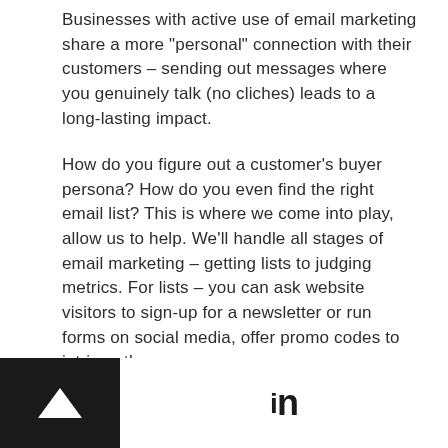Businesses with active use of email marketing share a more "personal" connection with their customers – sending out messages where you genuinely talk (no cliches) leads to a long-lasting impact.
How do you figure out a customer's buyer persona? How do you even find the right email list? This is where we come into play, allow us to help. We'll handle all stages of email marketing – getting lists to judging metrics. For lists – you can ask website visitors to sign-up for a newsletter or run forms on social media, offer promo codes to intrigue them.
Furthermore, with email marketing, we focus on driving sales by looking at subtle details that an ordinary agency would ignore otherwise – the template, brand voice, and campaign tests (to see what works).
[Figure (other): Black footer bar on left with white upward triangle arrow icon, and LinkedIn 'in' logo centered in footer]